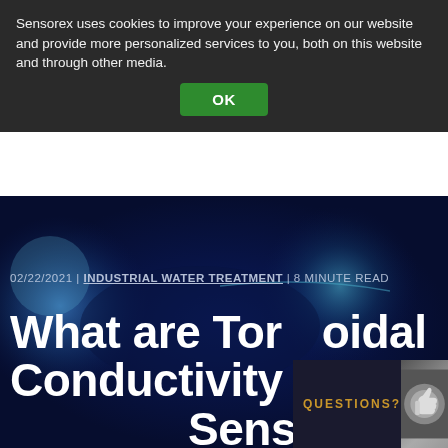Sensorex uses cookies to improve your experience on our website and provide more personalized services to you, both on this website and through other media.
OK
[Figure (photo): Dark blue abstract background image showing glowing orb-like shapes, used as hero image for blog article about toroidal conductivity sensors]
02/22/2021 | INDUSTRIAL WATER TREATMENT | 8 MINUTE READ
What are Toroidal Conductivity Sensors and How Do They
QUESTIONS?